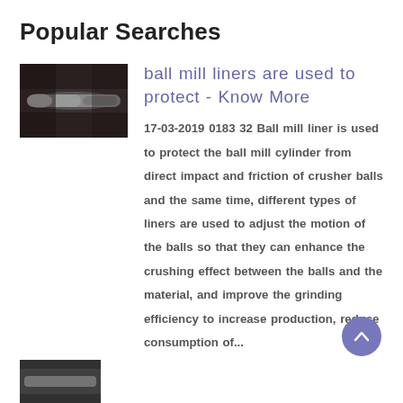Popular Searches
[Figure (photo): Thumbnail image of a ball mill cylinder component, showing a metallic cylindrical rod/liner in dark tones]
ball mill liners are used to protect - Know More
17-03-2019 0183 32 Ball mill liner is used to protect the ball mill cylinder from direct impact and friction of crusher balls and the same time, different types of liners are used to adjust the motion of the balls so that they can enhance the crushing effect between the balls and the material, and improve the grinding efficiency to increase production, reduce consumption of...
[Figure (photo): Second search result thumbnail image, partially visible at bottom of page]